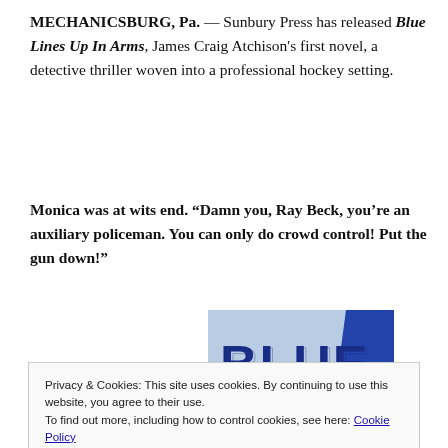MECHANICSBURG, Pa. — Sunbury Press has released Blue Lines Up In Arms, James Craig Atchison's first novel, a detective thriller woven into a professional hockey setting.
Monica was at wits end. “Damn you, Ray Beck, you’re an auxiliary policeman. You can only do crowd control! Put the gun down!”
[Figure (photo): Book cover showing the word BLUE in large dark blue 3D block letters against a light background with a blue geometric shape on the right.]
Privacy & Cookies: This site uses cookies. By continuing to use this website, you agree to their use.
To find out more, including how to control cookies, see here: Cookie Policy